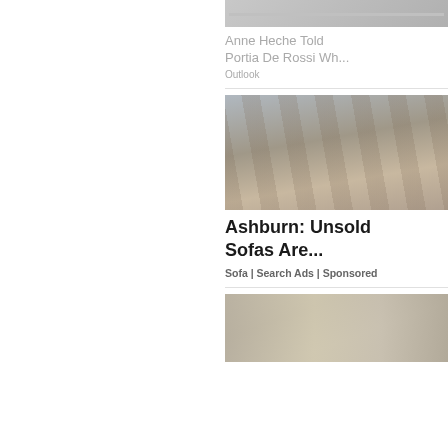[Figure (screenshot): Top article image with progress bar overlay, partially visible]
Anne Heche Told Portia De Rossi Wh...
Outlook
[Figure (photo): Interior of a large market or store with shelves and products]
Ashburn: Unsold Sofas Are...
Sofa | Search Ads | Sponsored
[Figure (photo): Kitchen interior with cabinets and counter]